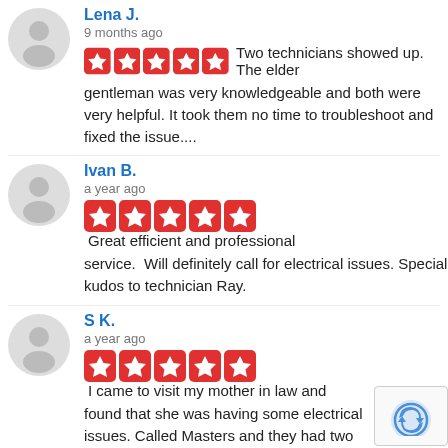Lena J. | 9 months ago | Five stars | Two technicians showed up. The elder gentleman was very knowledgeable and both were very helpful. It took them no time to troubleshoot and fixed the issue....
Ivan B. | a year ago | Five stars | Great efficient and professional service.  Will definitely call for electrical issues. Special kudos to technician Ray.
S K. | a year ago | Five stars | I came to visit my mother in law and found that she was having some electrical issues. Called Masters and they had two techs come out and check the...
Katherine S.